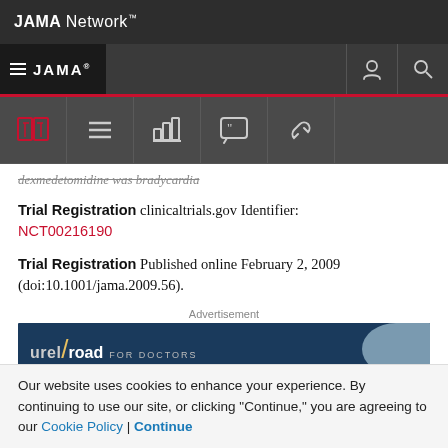JAMA Network
JAMA
dexmedetomidine was bradycardia
Trial Registration clinicaltrials.gov Identifier: NCT00216190
Trial Registration Published online February 2, 2009 (doi:10.1001/jama.2009.56).
Advertisement
[Figure (other): Laurel Road for Doctors advertisement banner with partial face image]
Our website uses cookies to enhance your experience. By continuing to use our site, or clicking "Continue," you are agreeing to our Cookie Policy | Continue